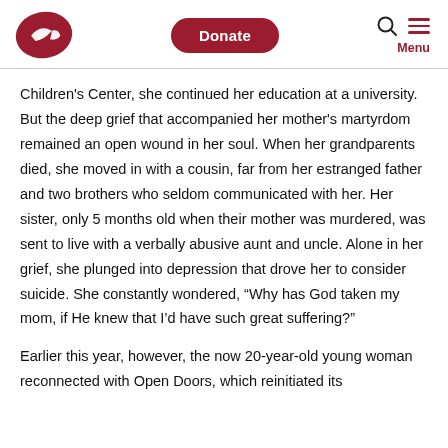Open Doors — Donate | Search | Menu
Children's Center, she continued her education at a university. But the deep grief that accompanied her mother's martyrdom remained an open wound in her soul. When her grandparents died, she moved in with a cousin, far from her estranged father and two brothers who seldom communicated with her. Her sister, only 5 months old when their mother was murdered, was sent to live with a verbally abusive aunt and uncle. Alone in her grief, she plunged into depression that drove her to consider suicide. She constantly wondered, “Why has God taken my mom, if He knew that I’d have such great suffering?”
Earlier this year, however, the now 20-year-old young woman reconnected with Open Doors, which reinitiated its